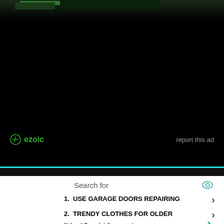[Figure (other): Black background area with a partial image at the top (dark scene with green elements), and an ezoic ad placeholder banner. Shows ezoic logo and 'report this ad' link.]
ezoic
report this ad
As an Amazon Associate we earn from qualifying purchases.
© 2021. All Rights Reserved. EpicBicycles.Com
Search for
1.   USE GARAGE DOORS REPAIRING
2.   TRENDY CLOTHES FOR OLDER
Yahoo! Search | Sponsored